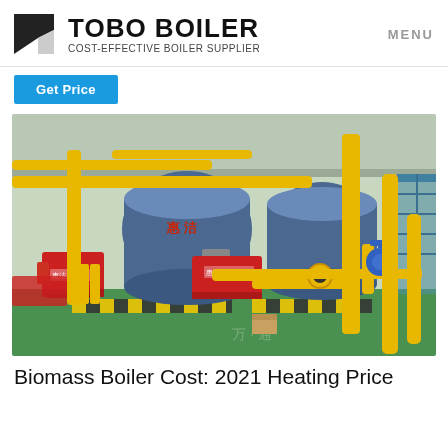TOBO BOILER — COST-EFFECTIVE BOILER SUPPLIER | MENU
Get Price
[Figure (photo): Industrial boiler room with large blue cylindrical boilers, red burner units, and bright yellow piping/structural columns on a green floor. Chinese text visible on boiler body.]
Biomass Boiler Cost: 2021 Heating Price